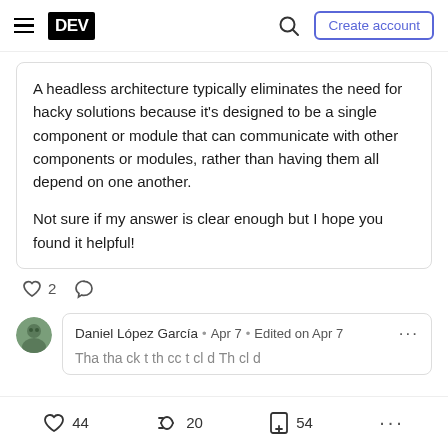DEV • Create account
A headless architecture typically eliminates the need for hacky solutions because it's designed to be a single component or module that can communicate with other components or modules, rather than having them all depend on one another.

Not sure if my answer is clear enough but I hope you found it helpful!
♡ 2  ○
Daniel López García • Apr 7 • Edited on Apr 7
♡ 44  𝕏 20  □ 54  ...